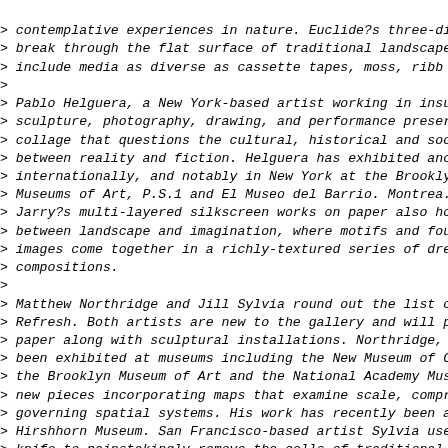> contemplative experiences in nature. Euclide?s three-di
> break through the flat surface of traditional landscape
> include media as diverse as cassette tapes, moss, ribb
>
> Pablo Helguera, a New York-based artist working in insu
> sculpture, photography, drawing, and performance preser
> collage that questions the cultural, historical and soc
> between reality and fiction. Helguera has exhibited anc
> internationally, and notably in New York at the Brookly
> Museums of Art, P.S.1 and El Museo del Barrio. Montrea.
> Jarry?s multi-layered silkscreen works on paper also hc
> between landscape and imagination, where motifs and fou
> images come together in a richly-textured series of dre
> compositions.
>
> Matthew Northridge and Jill Sylvia round out the list c
> Refresh. Both artists are new to the gallery and will p
> paper along with sculptural installations. Northridge,
> been exhibited at museums including the New Museum of C
> the Brooklyn Museum of Art and the National Academy Mus
> new pieces incorporating maps that examine scale, compr
> governing spatial systems. His work has recently been a
> Hirshhorn Museum. San Francisco-based artist Sylvia use
> knife to painstakingly remove the cells of traditional
> leaving behind a delicate lattice expressing time and l
> labor. The flat, empty grids turn three-dimensional as
> re-organizes them into spatial constructions in which n
> value confronts the void.
>
> CHRISTINA RAY is an innovative gallery and creative ca